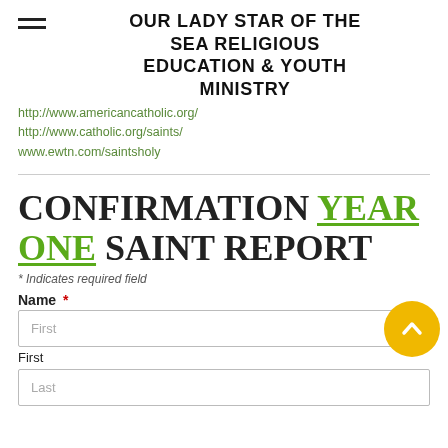OUR LADY STAR OF THE SEA RELIGIOUS EDUCATION & YOUTH MINISTRY
http://www.americancatholic.org/
http://www.catholic.org/saints/
www.ewtn.com/saintsholy
CONFIRMATION YEAR ONE SAINT REPORT
* Indicates required field
Name *
First
First
Last